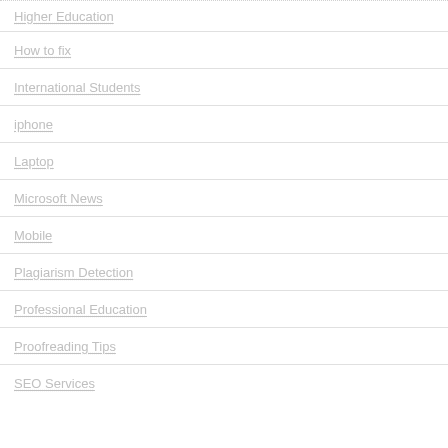Higher Education
How to fix
International Students
iphone
Laptop
Microsoft News
Mobile
Plagiarism Detection
Professional Education
Proofreading Tips
SEO Services